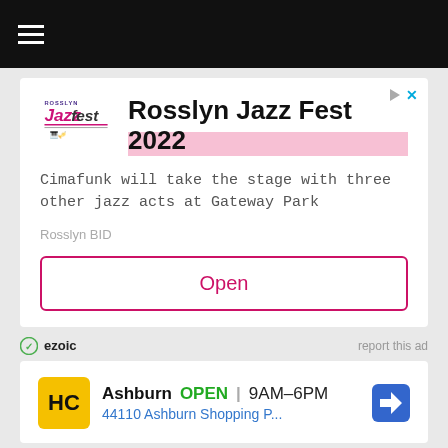[Figure (screenshot): Black navigation bar with hamburger menu icon (three white lines)]
[Figure (screenshot): Advertisement for Rosslyn Jazz Fest 2022. Shows Rosslyn JazzFest logo, title text 'Rosslyn Jazz Fest 2022', body text 'Cimafunk will take the stage with three other jazz acts at Gateway Park', source 'Rosslyn BID', and an Open button. Footer shows ezoic branding and 'report this ad'.]
[Figure (screenshot): Advertisement for HC store in Ashburn. Shows HC yellow logo, 'Ashburn OPEN 9AM-6PM', '44110 Ashburn Shopping P...' address, navigation arrow icon, and small ad attribution icons.]